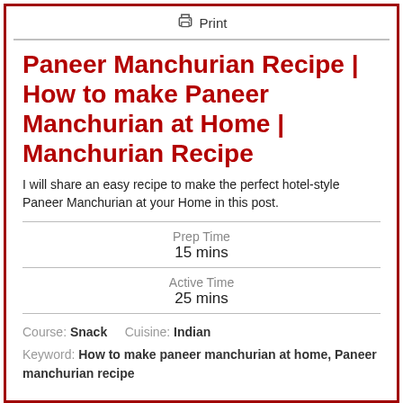Print
Paneer Manchurian Recipe | How to make Paneer Manchurian at Home | Manchurian Recipe
I will share an easy recipe to make the perfect hotel-style Paneer Manchurian at your Home in this post.
Prep Time
15 mins
Active Time
25 mins
Course: Snack    Cuisine: Indian
Keyword: How to make paneer manchurian at home, Paneer manchurian recipe